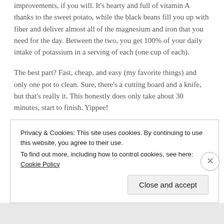improvements, if you will. It's hearty and full of vitamin A thanks to the sweet potato, while the black beans fill you up with fiber and deliver almost all of the magnesium and iron that you need for the day. Between the two, you get 100% of your daily intake of potassium in a serving of each (one cup of each).
The best part? Fast, cheap, and easy (my favorite things) and only one pot to clean. Sure, there's a cutting board and a knife, but that's really it. This honestly does only take about 30 minutes, start to finish. Yippee!
Privacy & Cookies: This site uses cookies. By continuing to use this website, you agree to their use.
To find out more, including how to control cookies, see here: Cookie Policy